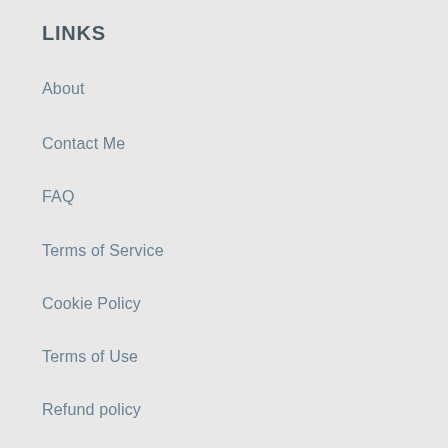LINKS
About
Contact Me
FAQ
Terms of Service
Cookie Policy
Terms of Use
Refund policy
Terms of Service